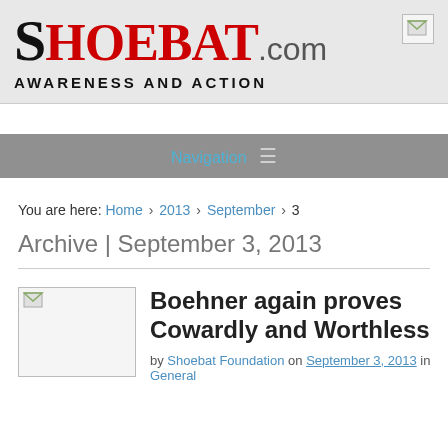SHOEBAT.com AWARENESS AND ACTION
Navigation
You are here: Home › 2013 › September › 3
Archive | September 3, 2013
Boehner again proves Cowardly and Worthless
by Shoebat Foundation on September 3, 2013 in General